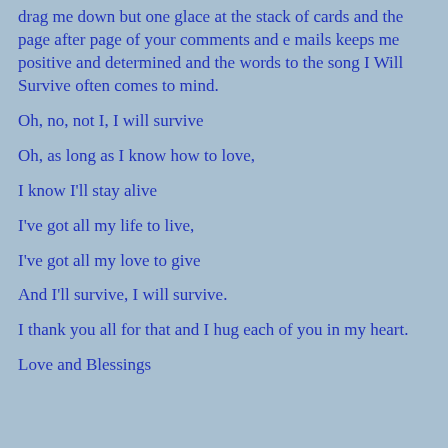drag me down but one glace at the stack of cards and the page after page of your comments and e mails keeps me positive and determined and the words to the song I Will Survive often comes to mind.
Oh, no, not I, I will survive
Oh, as long as I know how to love,
I know I'll stay alive
I've got all my life to live,
I've got all my love to give
And I'll survive, I will survive.
I thank you all for that and I hug each of you in my heart.
Love and Blessings